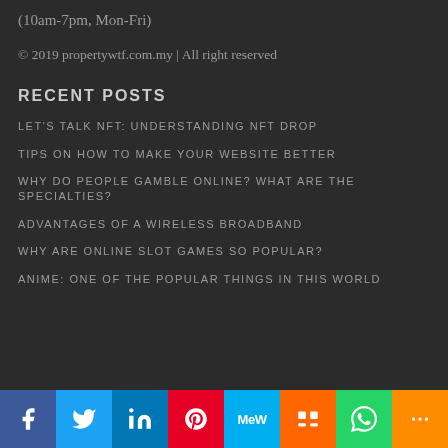(10am-7pm, Mon-Fri)
© 2019 propertywtf.com.my | All right reserved
RECENT POSTS
LET'S TALK NFT: UNDERSTANDING NFT DROP
TIPS ON HOW TO MAKE YOUR WEBSITE BETTER
WHY DO PEOPLE GAMBLE ONLINE? WHAT ARE THE SPECIALTIES?
ADVANTAGES OF A WIRELESS BROADBAND
WHY ARE ONLINE SLOT GAMES SO POPULAR?
ANIME: ONE OF THE POPULAR THINGS IN THIS WORLD
[Figure (other): Social media share buttons bar: Facebook, Twitter, LinkedIn, Pinterest, MeWe, Mix, WhatsApp, More]